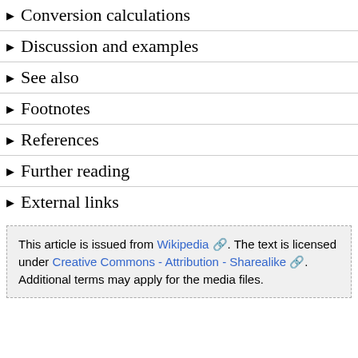▶ Conversion calculations
▶ Discussion and examples
▶ See also
▶ Footnotes
▶ References
▶ Further reading
▶ External links
This article is issued from Wikipedia. The text is licensed under Creative Commons - Attribution - Sharealike. Additional terms may apply for the media files.